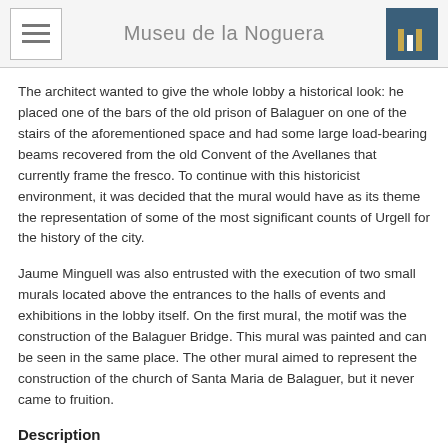Museu de la Noguera
The architect wanted to give the whole lobby a historical look: he placed one of the bars of the old prison of Balaguer on one of the stairs of the aforementioned space and had some large load-bearing beams recovered from the old Convent of the Avellanes that currently frame the fresco. To continue with this historicist environment, it was decided that the mural would have as its theme the representation of some of the most significant counts of Urgell for the history of the city.
Jaume Minguell was also entrusted with the execution of two small murals located above the entrances to the halls of events and exhibitions in the lobby itself. On the first mural, the motif was the construction of the Balaguer Bridge. This mural was painted and can be seen in the same place. The other mural aimed to represent the construction of the church of Santa Maria de Balaguer, but it never came to fruition.
Description
Presiding over the mural is the figure of Peter IV of Aragon (1319-1387), located in the centre. This king of the crown of Aragon was born in the castle of Balaguer, as he himself explains in his